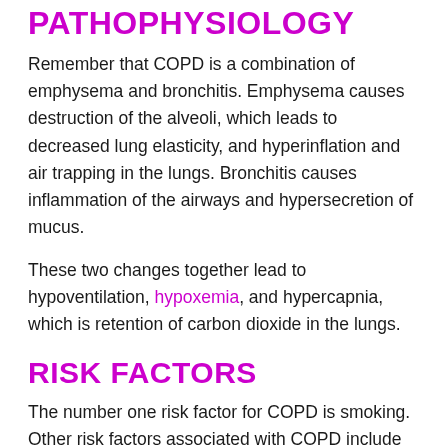PATHOPHYSIOLOGY
Remember that COPD is a combination of emphysema and bronchitis. Emphysema causes destruction of the alveoli, which leads to decreased lung elasticity, and hyperinflation and air trapping in the lungs. Bronchitis causes inflammation of the airways and hypersecretion of mucus.
These two changes together lead to hypoventilation, hypoxemia, and hypercapnia, which is retention of carbon dioxide in the lungs.
RISK FACTORS
The number one risk factor for COPD is smoking. Other risk factors associated with COPD include smoking, air pollution, occupational chemical